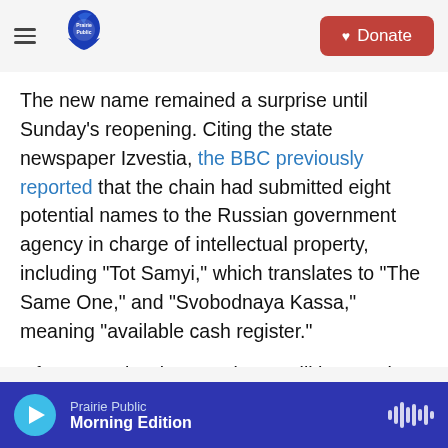Prairie Public | Donate
The new name remained a surprise until Sunday's reopening. Citing the state newspaper Izvestia, the BBC previously reported that the chain had submitted eight potential names to the Russian government agency in charge of intellectual property, including "Tot Samyi," which translates to "The Same One," and "Svobodnaya Kassa," meaning "available cash register."
Of course, classic menu items will have to be rebranded, too. The Filet-O-Fish will be called a "Fish Burger" and burgers will be known as "Grand" rather than "Royal" according to the M...
Prairie Public — Morning Edition